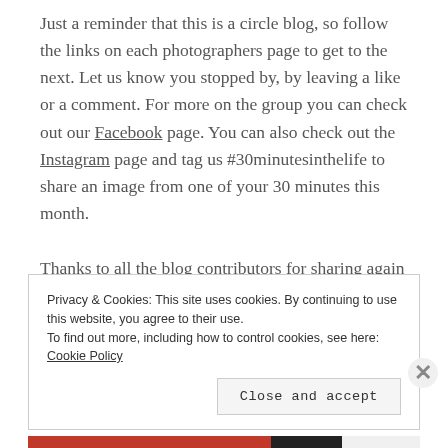Just a reminder that this is a circle blog, so follow the links on each photographers page to get to the next.  Let us know you stopped by, by leaving a like or a comment.  For more on the group you can check out our Facebook page.  You can also check out the Instagram page and tag us #30minutesinthelife to share an image from one of your 30 minutes this month.
Thanks to all the blog contributors for sharing again this month.
Privacy & Cookies: This site uses cookies. By continuing to use this website, you agree to their use.
To find out more, including how to control cookies, see here: Cookie Policy